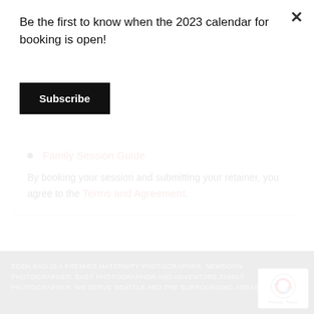Be the first to know when the 2023 calendar for booking is open!
Subscribe
×
Family Session Guide
By booking your session and submitting your retainer, you agree to the Terms and Agreement.
EDEN BAO IS A PREMIER MATERNITY PHOTOGRAPHER, NEWBORN PHOTOGRAPHER, BABY PHOTOGRAPHER AND ADVENTURE FAMILY PHOTOGRAPHER. WE SERVE SEATTLE AND THE SURROUNDING AREAS